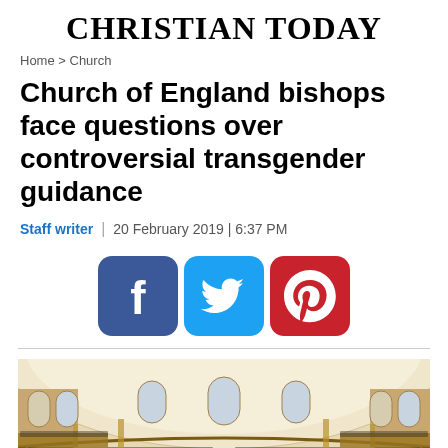CHRISTIAN TODAY
Home > Church
Church of England bishops face questions over controversial transgender guidance
Staff writer | 20 February 2019 | 6:37 PM
[Figure (other): Social sharing icons: Facebook (dark blue), Twitter (light blue), Pinterest (red)]
[Figure (photo): Interior of a large circular church hall with arched windows and wooden pews, filled with people attending a formal gathering or synod meeting. High vaulted cream-coloured ceiling, balcony seating around the perimeter.]